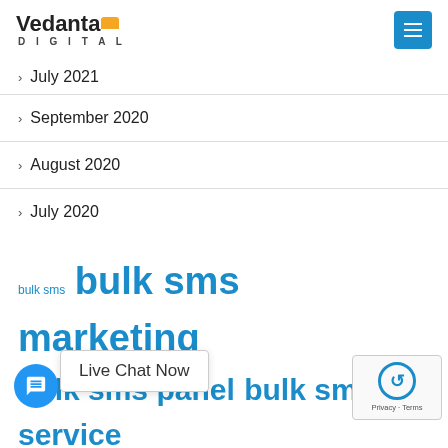Vedanta Digital
July 2021
September 2020
August 2020
July 2020
bulk sms bulk sms marketing bulk sms panel bulk sms service bulk sms service raipur bulk sms services business growth business impact COVID-19 Digital Marketing digital marketing academy Digital Marketing Agency digital marketing company digital marketing course digital marketing strategy digital marketing training Graphic Design impact of digital marketing Importance Of Digital Marketing IVR Service in Raipur